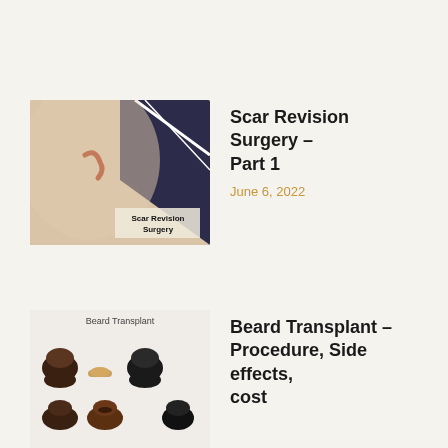[Figure (photo): Thumbnail image of a scar on skin with text 'Scar Revision Surgery' overlaid at the bottom right]
Scar Revision Surgery – Part 1
June 6, 2022
[Figure (illustration): Thumbnail illustration showing multiple beard styles labeled 'Beard Transplant' at the top, with rows of beard and mustache icons in different colors]
Beard Transplant – Procedure, Side effects, cost